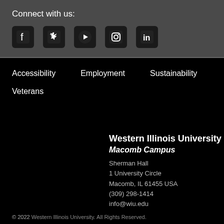Connect with us:
[Figure (illustration): Social media icons: Facebook, Twitter, YouTube, Instagram, LinkedIn]
Accessibility
Employment
Sustainability
Veterans
Western Illinois University
Macomb Campus
Sherman Hall
1 University Circle
Macomb, IL 61455 USA
(309) 298-1414
info@wiu.edu
© 2022 Western Illinois University. All Rights Reserved.